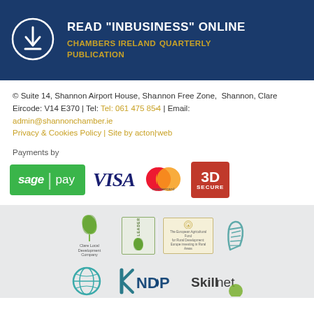[Figure (infographic): Dark blue banner with download icon and text: READ "INBUSINESS" ONLINE / CHAMBERS IRELAND QUARTERLY PUBLICATION]
© Suite 14, Shannon Airport House, Shannon Free Zone,  Shannon, Clare
Eircode: V14 E370 | Tel: Tel: 061 475 854 | Email:
admin@shannonchamber.ie
Privacy & Cookies Policy | Site by acton|web
Payments by
[Figure (logo): Payment logos: sage|pay (green), VISA (blue italic), mastercard (red/orange circles), 3D SECURE (red)]
[Figure (logo): Footer logos row 1: Clare Local Development Company (green leaf), LEADER (green logo), European Agricultural Fund (beige logo), Irish harp silhouette (teal)]
[Figure (logo): Footer logos row 2: circular globe logo (teal), NDP logo (blue/teal), Skillnet (teal/green)]